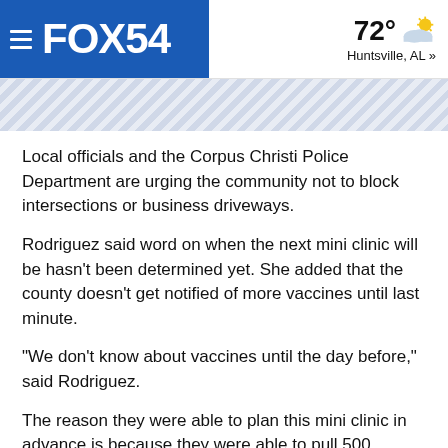FOX54 | 72° Huntsville, AL »
Local officials and the Corpus Christi Police Department are urging the community not to block intersections or business driveways.
Rodriguez said word on when the next mini clinic will be hasn't been determined yet. She added that the county doesn't get notified of more vaccines until last minute.
"We don't know about vaccines until the day before," said Rodriguez.
The reason they were able to plan this mini clinic in advance is because they were able to pull 500 vaccines from the recent 5,000 we received.
Also, since this is an appointment only mini clinic, camping